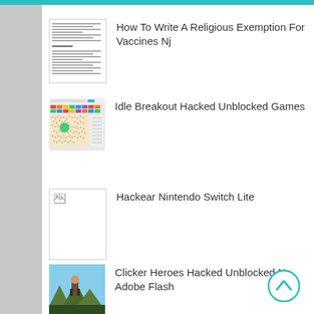How To Write A Religious Exemption For Vaccines Nj
Idle Breakout Hacked Unblocked Games
Hackear Nintendo Switch Lite
Clicker Heroes Hacked Unblocked No Adobe Flash